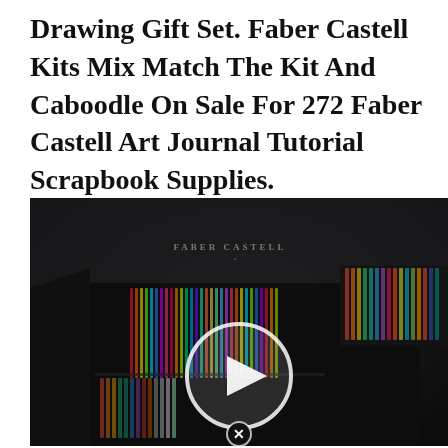Drawing Gift Set. Faber Castell Kits Mix Match The Kit And Caboodle On Sale For 272 Faber Castell Art Journal Tutorial Scrapbook Supplies.
[Figure (photo): A Faber Castell art set box opened to reveal rows of colorful pencils/markers arranged in tiers inside a black case, with the Faber Castell logo visible. A circular play button overlay is centered on the image, and a close (X) button appears at the bottom center, indicating this is a video thumbnail.]